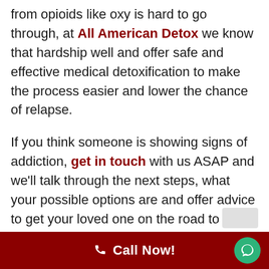from opioids like oxy is hard to go through, at All American Detox we know that hardship well and offer safe and effective medical detoxification to make the process easier and lower the chance of relapse.
If you think someone is showing signs of addiction, get in touch with us ASAP and we'll talk through the next steps, what your possible options are and offer advice to get your loved one on the road to recovery.
Post Views: 231
Call Now!